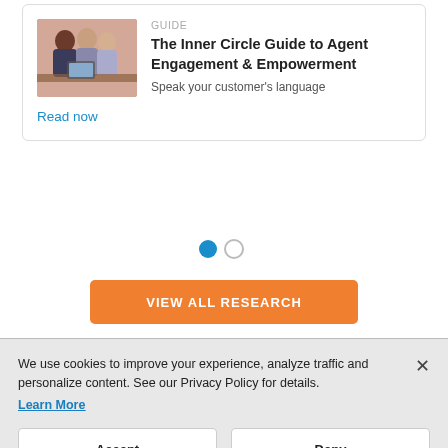[Figure (photo): Photo of people working together at a computer, used as guide thumbnail image]
GUIDE
The Inner Circle Guide to Agent Engagement & Empowerment
Speak your customer's language
Read now
[Figure (other): Pagination dots: one filled blue circle and one empty circle]
VIEW ALL RESEARCH
We use cookies to improve your experience, analyze traffic and personalize content. See our Privacy Policy for details.
Learn More
Accept
Deny